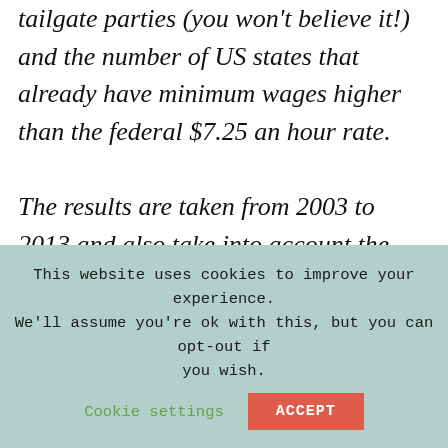tailgate parties (you won't believe it!) and the number of US states that already have minimum wages higher than the federal $7.25 an hour rate.

The results are taken from 2003 to 2013 and also take into account the changing rates of inflation and the infographic has revealed many interesting insights. We expected the lowest prices to be
This website uses cookies to improve your experience. We'll assume you're ok with this, but you can opt-out if you wish. Cookie settings ACCEPT